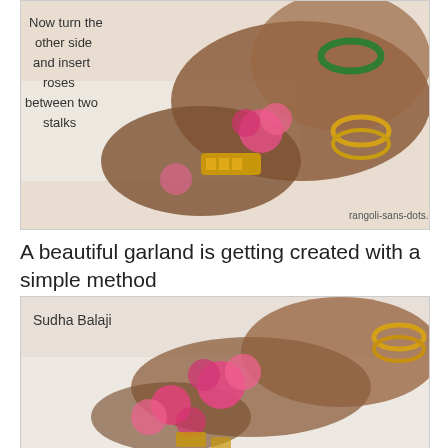[Figure (photo): Hands with gold bangles inserting pink roses between two stalks of a garland. Text overlay reads 'Now turn the other side and insert roses between two stalks'. Watermark: rangoli-sans-dots.com]
A beautiful garland is getting created with a simple method
[Figure (photo): Hands with gold bangles handling pink roses in a garland. Label 'Sudha Balaji' shown in upper left corner of image.]